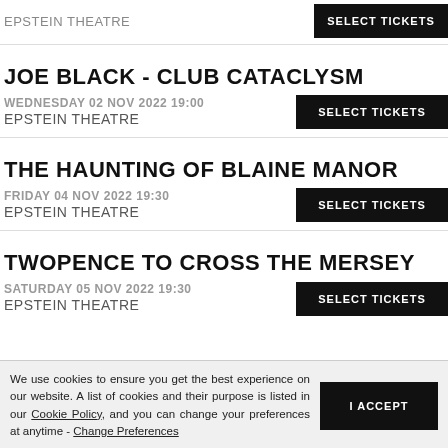EPSTEIN THEATRE
JOE BLACK - CLUB CATACLYSM
WEDNESDAY 02 NOV 2022 19:00
EPSTEIN THEATRE
THE HAUNTING OF BLAINE MANOR
FRIDAY 04 NOV 2022 19:30
EPSTEIN THEATRE
TWOPENCE TO CROSS THE MERSEY
SATURDAY 05 NOV 2022 19:30
EPSTEIN THEATRE
We use cookies to ensure you get the best experience on our website. A list of cookies and their purpose is listed in our Cookie Policy, and you can change your preferences at anytime - Change Preferences